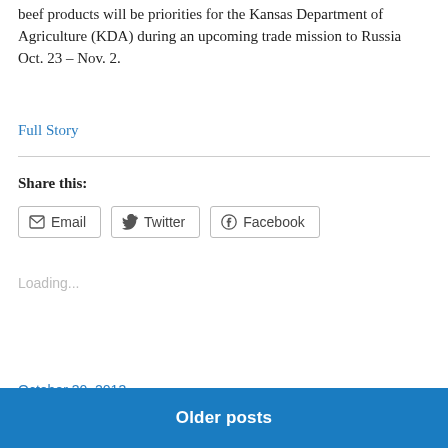beef products will be priorities for the Kansas Department of Agriculture (KDA) during an upcoming trade mission to Russia Oct. 23 – Nov. 2.
Full Story
Share this:
Email  Twitter  Facebook
Loading...
October 30, 2013
Older posts